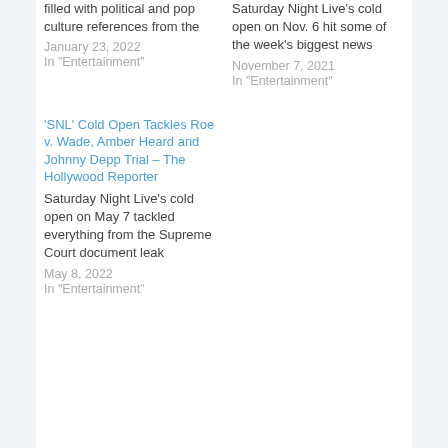filled with political and pop culture references from the
January 23, 2022
In "Entertainment"
Saturday Night Live's cold open on Nov. 6 hit some of the week's biggest news
November 7, 2021
In "Entertainment"
'SNL' Cold Open Tackles Roe v. Wade, Amber Heard and Johnny Depp Trial – The Hollywood Reporter
Saturday Night Live's cold open on May 7 tackled everything from the Supreme Court document leak
May 8, 2022
In "Entertainment"